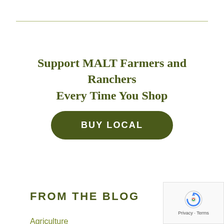Support MALT Farmers and Ranchers Every Time You Shop
BUY LOCAL
FROM THE BLOG
Agriculture
Board